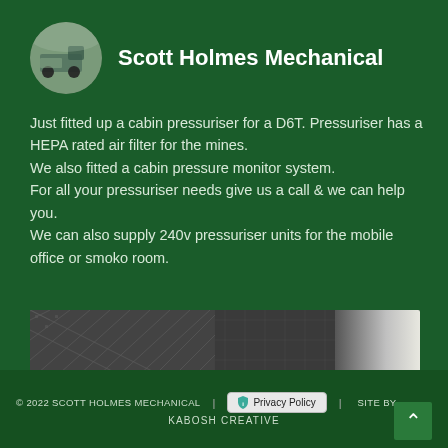Scott Holmes Mechanical
Just fitted up a cabin pressuriser for a D6T. Pressuriser has a HEPA rated air filter for the mines.
We also fitted a cabin pressure monitor system.
For all your pressuriser needs give us a call & we can help you.
We can also supply 240v pressuriser units for the mobile office or smoko room.
[Figure (photo): Close-up photo of a HEPA filter mesh/grille, dark grey textured surface with metallic sheen]
© 2022 SCOTT HOLMES MECHANICAL | Privacy Policy | SITE BY KABOSH CREATIVE